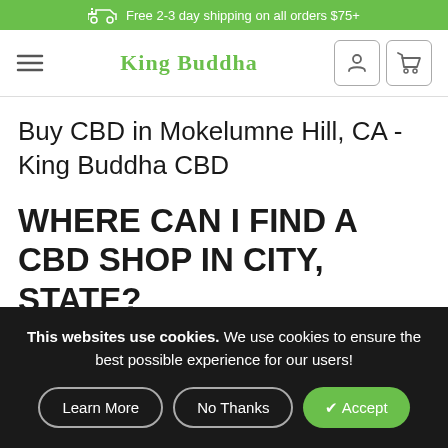Free 2-3 day shipping on all orders $75+
[Figure (logo): King Buddha logo with hamburger menu, brand name in green, and user/cart icons in nav bar]
Buy CBD in Mokelumne Hill, CA - King Buddha CBD
WHERE CAN I FIND A CBD SHOP IN CITY, STATE?
People are brought into the rich world of CBD for many reasons. Some are looking for alternative pain relief methods that are safe and non-addictive. Others are
This websites use cookies. We use cookies to ensure the best possible experience for our users!